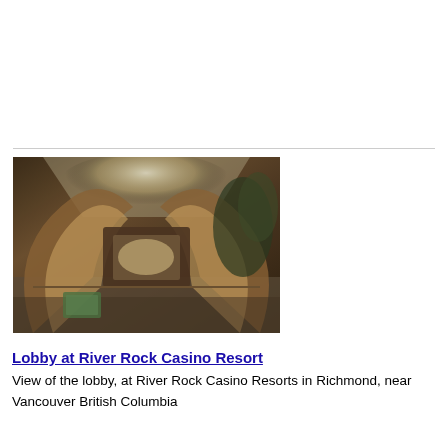[Figure (photo): Interior lobby photo of River Rock Casino Resort in Richmond, near Vancouver British Columbia, showing large decorative arches, high glass ceiling, and vegetation.]
Lobby at River Rock Casino Resort
View of the lobby, at River Rock Casino Resorts in Richmond, near Vancouver British Columbia